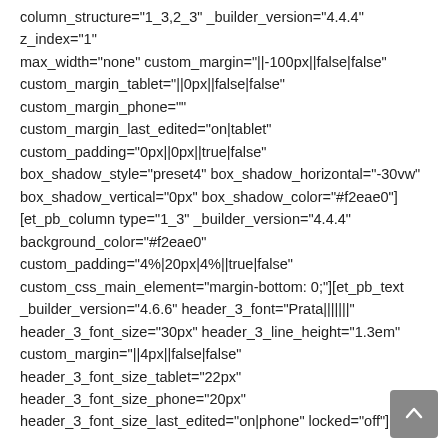column_structure="1_3,2_3" _builder_version="4.4.4" z_index="1" max_width="none" custom_margin="||-100px||false|false" custom_margin_tablet="||0px||false|false" custom_margin_phone="" custom_margin_last_edited="on|tablet" custom_padding="0px||0px||true|false" box_shadow_style="preset4" box_shadow_horizontal="-30vw" box_shadow_vertical="0px" box_shadow_color="#f2eae0"] [et_pb_column type="1_3" _builder_version="4.4.4" background_color="#f2eae0" custom_padding="4%|20px|4%||true|false" custom_css_main_element="margin-bottom: 0;"[et_pb_text _builder_version="4.6.6" header_3_font="Prata|||||||" header_3_font_size="30px" header_3_line_height="1.3em" custom_margin="||4px||false|false" header_3_font_size_tablet="22px" header_3_font_size_phone="20px" header_3_font_size_last_edited="on|phone" locked="off"]